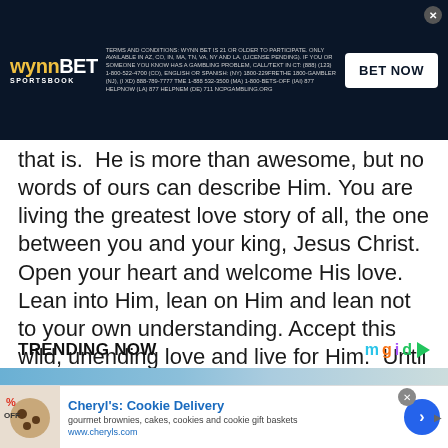[Figure (screenshot): WynnBET Sportsbook advertisement banner with logo, terms and conditions text, and BET NOW button on dark blue background]
that is.  He is more than awesome, but no words of ours can describe Him. You are living the greatest love story of all, the one between you and your king, Jesus Christ.  Open your heart and welcome His love. Lean into Him, lean on Him and lean not to your own understanding. Accept this wild, unending love and live for Him.  Until next time!
TRENDING NOW
[Figure (screenshot): mgid logo with colorful letters and play button arrow]
[Figure (screenshot): Trending content image strip at bottom]
[Figure (screenshot): Cheryl's Cookie Delivery advertisement banner with cookie image, title, description and call to action button]